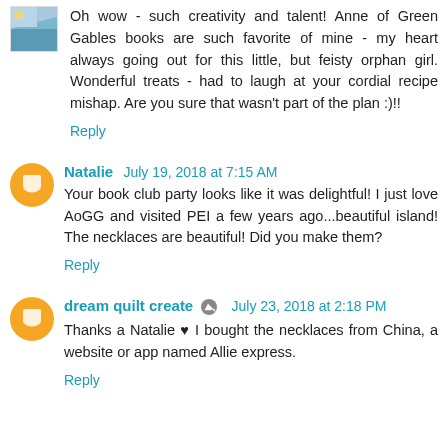[Figure (photo): Small avatar image top-left, appears to be a nature/landscape photo thumbnail]
Oh wow - such creativity and talent! Anne of Green Gables books are such favorite of mine - my heart always going out for this little, but feisty orphan girl. Wonderful treats - had to laugh at your cordial recipe mishap. Are you sure that wasn't part of the plan :)!!
Reply
Natalie  July 19, 2018 at 7:15 AM
Your book club party looks like it was delightful! I just love AoGG and visited PEI a few years ago...beautiful island! The necklaces are beautiful! Did you make them?
Reply
dream quilt create  July 23, 2018 at 2:18 PM
Thanks a Natalie ♥ I bought the necklaces from China, a website or app named Allie express.
Reply